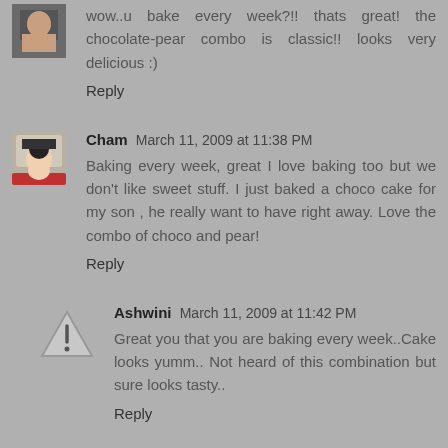wow..u bake every week?!! thats great! the chocolate-pear combo is classic!! looks very delicious :)
Reply
Cham  March 11, 2009 at 11:38 PM
Baking every week, great I love baking too but we don't like sweet stuff. I just baked a choco cake for my son , he really want to have right away. Love the combo of choco and pear!
Reply
Ashwini  March 11, 2009 at 11:42 PM
Great you that you are baking every week..Cake looks yumm.. Not heard of this combination but sure looks tasty..
Reply